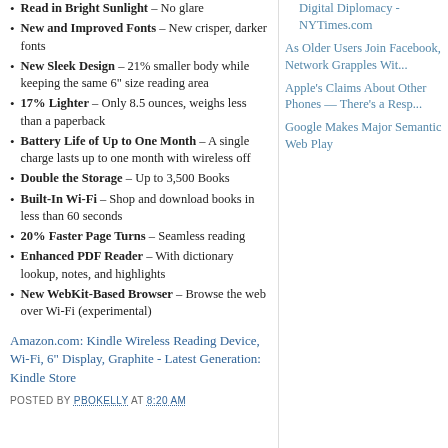Read in Bright Sunlight – No glare
New and Improved Fonts – New crisper, darker fonts
New Sleek Design – 21% smaller body while keeping the same 6" size reading area
17% Lighter – Only 8.5 ounces, weighs less than a paperback
Battery Life of Up to One Month – A single charge lasts up to one month with wireless off
Double the Storage – Up to 3,500 Books
Built-In Wi-Fi – Shop and download books in less than 60 seconds
20% Faster Page Turns – Seamless reading
Enhanced PDF Reader – With dictionary lookup, notes, and highlights
New WebKit-Based Browser – Browse the web over Wi-Fi (experimental)
Amazon.com: Kindle Wireless Reading Device, Wi-Fi, 6" Display, Graphite - Latest Generation: Kindle Store
POSTED BY PBOKELLY AT 8:20 AM
Digital Diplomacy - NYTimes.com
As Older Users Join Facebook, Network Grapples Wit...
Apple's Claims About Other Phones — There's a Resp...
Google Makes Major Semantic Web Play